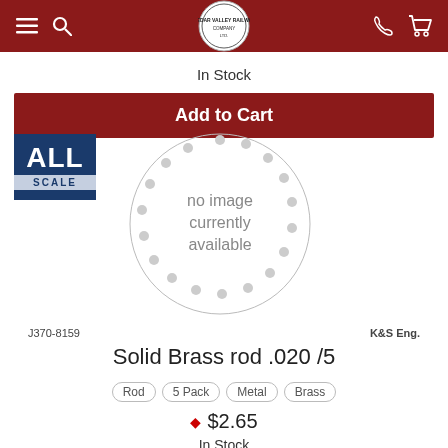[Figure (logo): Cedar Valley Railway Company Ltd logo in header navigation bar with hamburger menu, search icon, phone icon, and cart icon]
In Stock
Add to Cart
[Figure (logo): ALL SCALE badge - blue rectangle with ALL in white bold text and SCALE below]
[Figure (other): no image currently available placeholder circle with dotted border]
J370-8159
K&S Eng.
Solid Brass rod .020 /5
Rod
5 Pack
Metal
Brass
$2.65
In Stock